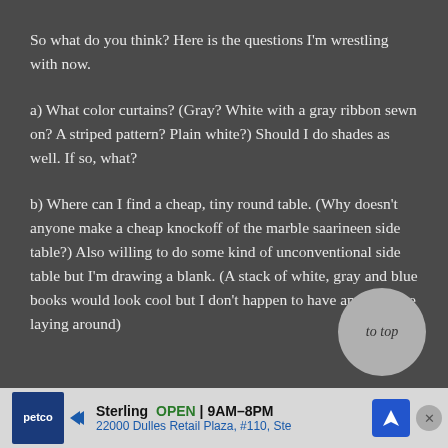So what do you think? Here is the questions I'm wrestling with now.
a) What color curtains? (Gray? White with a gray ribbon sewn on? A striped pattern? Plain white?) Should I do shades as well. If so, what?
b) Where can I find a cheap, tiny round table. (Why doesn't anyone make a cheap knockoff of the marble saarineen side table?) Also willing to do some kind of unconventional side table but I'm drawing a blank. (A stack of white, gray and blue books would look cool but I don't happen to have any of those laying around)
Sterling OPEN 9AM–8PM 22000 Dulles Retail Plaza, #110, Ste